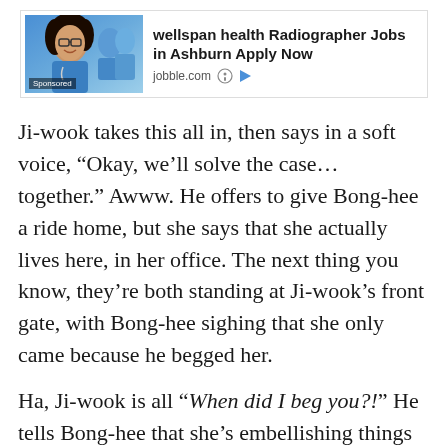[Figure (other): Advertisement banner for wellspan health Radiographer Jobs in Ashburn with photo of smiling woman in scrubs with medical team in background. Labeled 'Sponsored' and sourced from jobble.com]
Ji-wook takes this all in, then says in a soft voice, “Okay, we’ll solve the case… together.” Awww. He offers to give Bong-hee a ride home, but she says that she actually lives here, in her office. The next thing you know, they’re both standing at Ji-wook’s front gate, with Bong-hee sighing that she only came because he begged her.
Ha, Ji-wook is all “When did I beg you?!” He tells Bong-hee that she’s embellishing things just a bit when she describes how he refused to leave her in her dangerous office and practically dragged her here. But she’s committed to this version of the story and says that she won’t be responsible for anything that happens while she’s in his house.